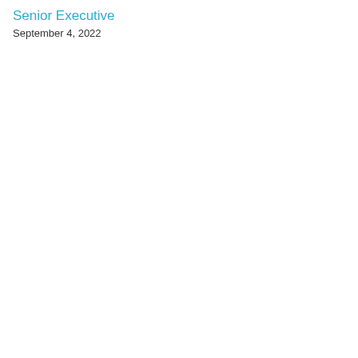Senior Executive
September 4, 2022